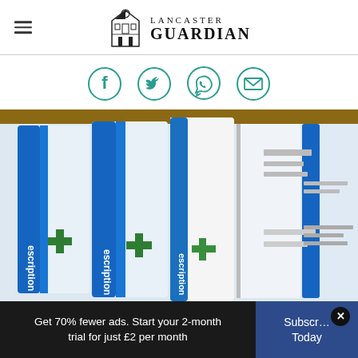LANCASTER GUARDIAN
[Figure (logo): Lancaster Guardian newspaper logo with building/crest icon]
[Figure (infographic): Social media share icons: Facebook, Twitter, WhatsApp, Email — teal colored circles]
[Figure (photo): Close-up photograph of NHS prescription bags in blue and white lined up on a shelf]
Get 70% fewer ads. Start your 2-month trial for just £2 per month
Subscribe Today